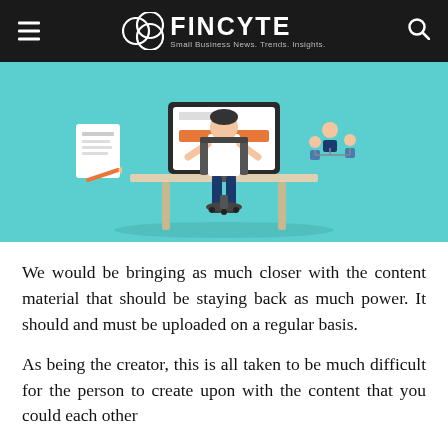FINCYTE — Small Business News. Trends. Insights.
[Figure (illustration): Flat-style illustration of a person sitting at a desk working on a computer, with document and people icons around the monitor, on a teal background.]
We would be bringing as much closer with the content material that should be staying back as much power. It should and must be uploaded on a regular basis.
As being the creator, this is all taken to be much difficult for the person to create upon with the content that you could each other